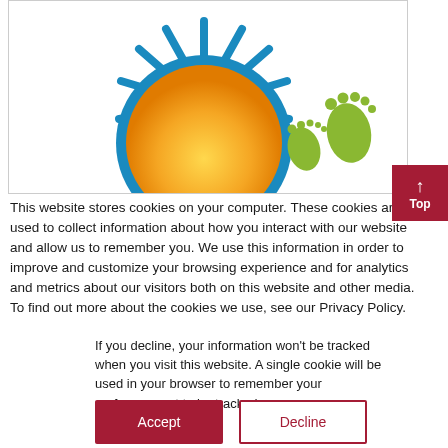[Figure (illustration): Illustration of a cartoon sun (golden semicircle with blue rays) rising, and two green footprint icons to the right, on a white background within a bordered box. A red 'Top' button with an upward arrow is partially visible at the right edge.]
This website stores cookies on your computer. These cookies are used to collect information about how you interact with our website and allow us to remember you. We use this information in order to improve and customize your browsing experience and for analytics and metrics about our visitors both on this website and other media. To find out more about the cookies we use, see our Privacy Policy.
If you decline, your information won’t be tracked when you visit this website. A single cookie will be used in your browser to remember your preference not to be tracked.
Accept
Decline